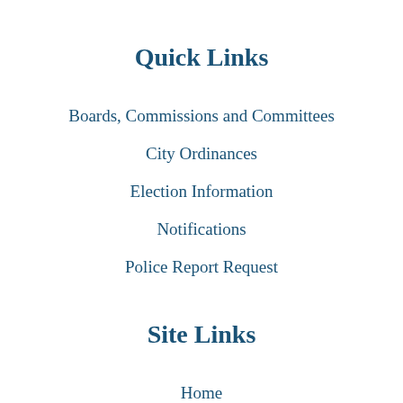Quick Links
Boards, Commissions and Committees
City Ordinances
Election Information
Notifications
Police Report Request
Site Links
Home
Site Map
Contact Us
Accessibility
Copyright Notices